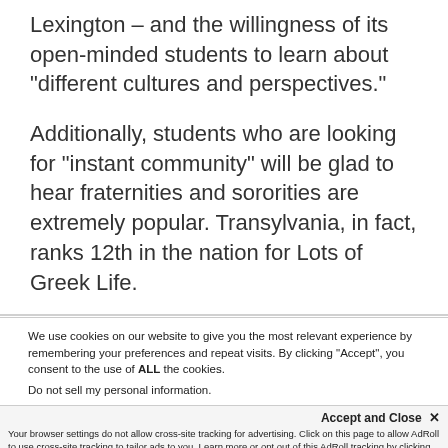Lexington – and the willingness of its open-minded students to learn about “different cultures and perspectives.”
Additionally, students who are looking for “instant community” will be glad to hear fraternities and sororities are extremely popular. Transylvania, in fact, ranks 12th in the nation for Lots of Greek Life.
We use cookies on our website to give you the most relevant experience by remembering your preferences and repeat visits. By clicking “Accept”, you consent to the use of ALL the cookies.
Do not sell my personal information.
Accept and Close ×
Your browser settings do not allow cross-site tracking for advertising. Click on this page to allow AdRoll to use cross-site tracking to tailor ads to you. Learn more or opt out of this AdRoll tracking by clicking here. This message only appears once.